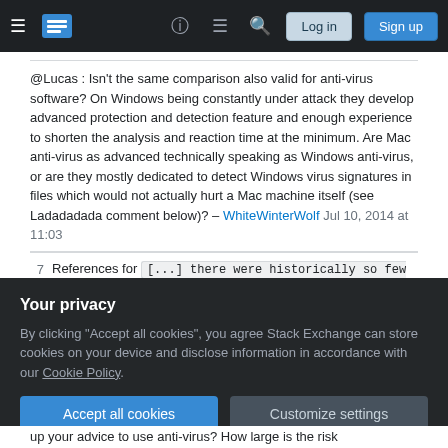Stack Exchange navigation bar with hamburger menu, logo, help, chat, search, Log in, Sign up
@Lucas : Isn't the same comparison also valid for anti-virus software? On Windows being constantly under attack they develop advanced protection and detection feature and enough experience to shorten the analysis and reaction time at the minimum. Are Mac anti-virus as advanced technically speaking as Windows anti-virus, or are they mostly dedicated to detect Windows virus signatures in files which would not actually hurt a Mac machine itself (see Ladadadada comment below)? – WhiteWinterWolf Jul 10, 2014 at 11:03
7   References for [...] there were historically so few viruses around for
Your privacy - By clicking "Accept all cookies", you agree Stack Exchange can store cookies on your device and disclose information in accordance with our Cookie Policy.
up your advice to use anti-virus? How large is the risk